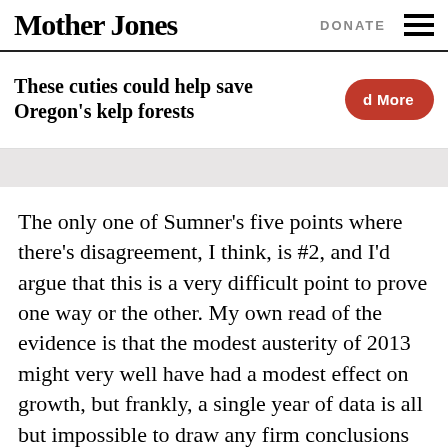Mother Jones | DONATE
These cuties could help save Oregon's kelp forests
The only one of Sumner's five points where there's disagreement, I think, is #2, and I'd argue that this is a very difficult point to prove one way or the other. My own read of the evidence is that the modest austerity of 2013 might very well have had a modest effect on growth, but frankly, a single year of data is all but impossible to draw any firm conclusions from. However, it's certainly true that there were no